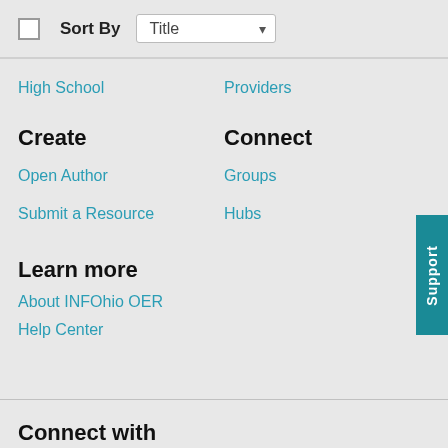Sort By  Title
High School
Providers
Create
Connect
Open Author
Groups
Submit a Resource
Hubs
Learn more
About INFOhio OER
Help Center
Connect with INFOhio